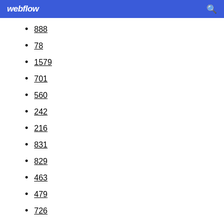webflow
888
78
1579
701
560
242
216
831
829
463
479
726
1000